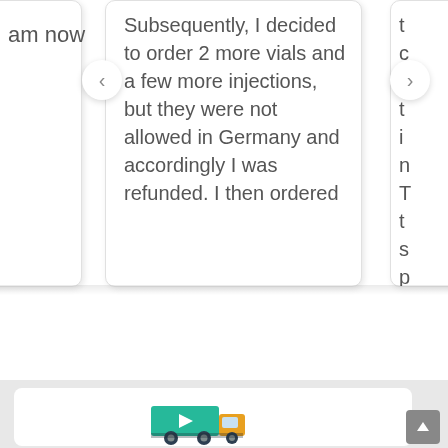am now a
Subsequently, I decided to order 2 more vials and a few more injections, but they were not allowed in Germany and accordingly I was refunded. I then ordered
t c b t i n T t s p r
[Figure (illustration): Delivery truck icon - teal/turquoise truck with orange cab, white arrow on side, dark wheels, flat design illustration]